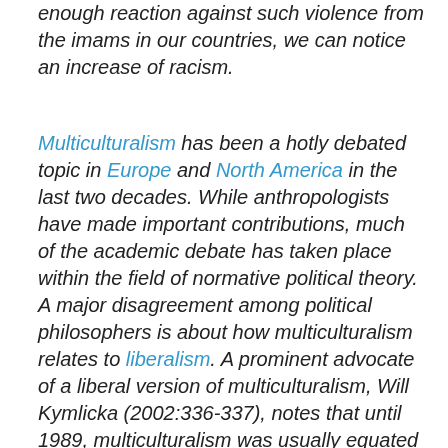enough reaction against such violence from the imams in our countries, we can notice an increase of racism.
Multiculturalism has been a hotly debated topic in Europe and North America in the last two decades. While anthropologists have made important contributions, much of the academic debate has taken place within the field of normative political theory. A major disagreement among political philosophers is about how multiculturalism relates to liberalism. A prominent advocate of a liberal version of multiculturalism, Will Kymlicka (2002:336-337), notes that until 1989, multiculturalism was usually equated with communitarian philosophy which disputes the liberal concept of the 'autonomous individual'. According to him, it has become widely recognized that except for a few 'communitarian' groups, most ethnic minorities in Western